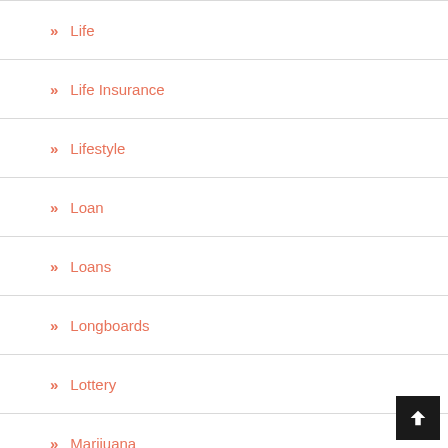Life
Life Insurance
Lifestyle
Loan
Loans
Longboards
Lottery
Marijuana
Marketing
Mattress
Med Spa